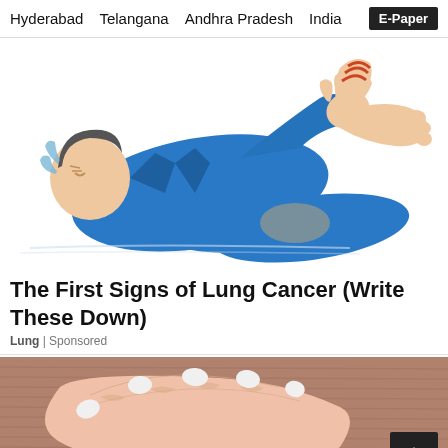Hyderabad   Telangana   Andhra Pradesh   India   E-Paper
[Figure (illustration): Illustration of a person lying down in pain wearing a blue suit, with a foot pressing on their leg, suggesting pain or discomfort, used to accompany an article about lung cancer symptoms]
The First Signs of Lung Cancer (Write These Down)
Lung | Sponsored
[Figure (photo): Close-up photo of a woman's hand with white painted nails resting on her stomach/chest area, wearing a brown ribbed top, likely illustrating stomach or chest discomfort]